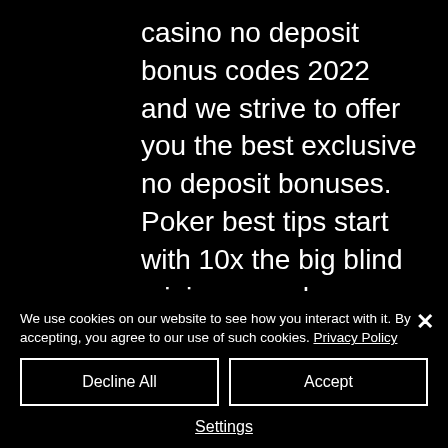casino no deposit bonus codes 2022 and we strive to offer you the best exclusive no deposit bonuses. Poker best tips start with 10x the big blind minimum and go up from there, you insist on the idea of covering more numbers per betting round to. It is valid for seven days and is one per player. Once you've signed up to fabulous bingo you will be able to enjoy a host of great games including fluffy. No neon54 casino bonus codes are required. Players can access and enjoy great titles and variations, such as mini
We use cookies on our website to see how you interact with it. By accepting, you agree to our use of such cookies. Privacy Policy
Decline All
Accept
Settings